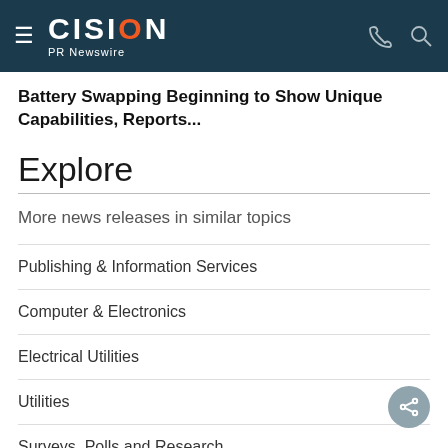CISION PR Newswire
Battery Swapping Beginning to Show Unique Capabilities, Reports...
Explore
More news releases in similar topics
Publishing & Information Services
Computer & Electronics
Electrical Utilities
Utilities
Surveys, Polls and Research